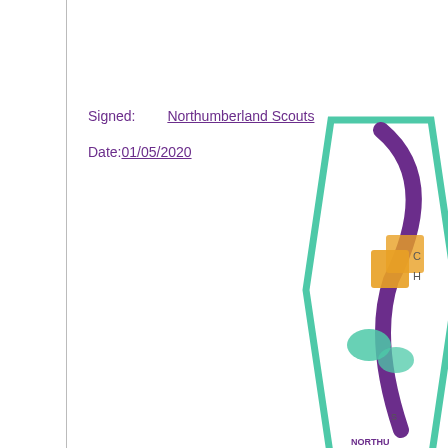Signed:    Northumberland Scouts
Date:01/05/2020
[Figure (logo): Northumberland Scouts logo — hexagonal badge with purple swoosh, orange and teal cubes, text reading 'NORTHU...']
Well done to all the Beavers and Cubs who had a great time in April building a c... this world record camp!
Visit from Global Adventurer!
[Figure (photo): Placeholder image with camera icon — image not loaded]